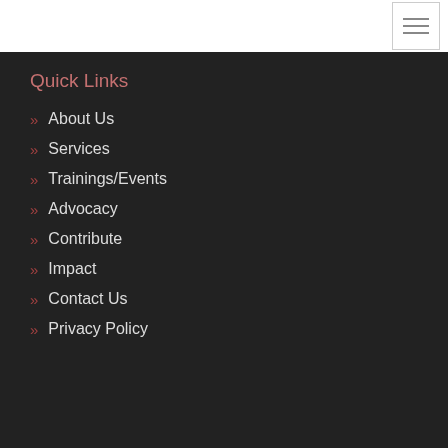[Figure (other): Hamburger menu icon with three horizontal lines inside a bordered box]
Quick Links
About Us
Services
Trainings/Events
Advocacy
Contribute
Impact
Contact Us
Privacy Policy